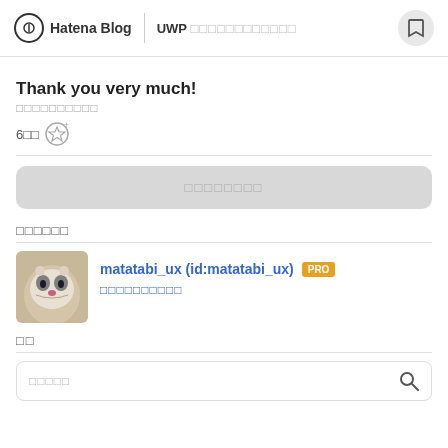Hatena Blog | UWP □□□□□□□□□□□□
Thank you very much!
□□□□□□□□□□
6□□ ☆+
□□□□□□□□ (comment button)
□□□□□□
matatabi_ux (id:matatabi_ux) PRO
□□□□□□□□□□
□□
□□□□□ (search)